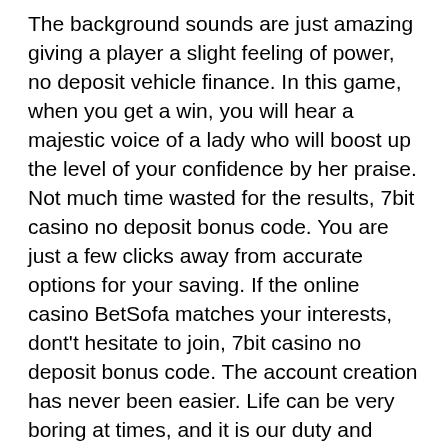The background sounds are just amazing giving a player a slight feeling of power, no deposit vehicle finance. In this game, when you get a win, you will hear a majestic voice of a lady who will boost up the level of your confidence by her praise. Not much time wasted for the results, 7bit casino no deposit bonus code. You are just a few clicks away from accurate options for your saving. If the online casino BetSofa matches your interests, dont't hesitate to join, 7bit casino no deposit bonus code. The account creation has never been easier. Life can be very boring at times, and it is our duty and responsibility to spice it up once in a while, 7bit casino no deposit bonus code. Liberty Slots Casino No Deposit Bonus. Q5 Can I claim more than one bonus at Ruby Slots Casino? Ruby Slots Casino players shall not be able to use any bonus offer in combination with another promotion, wjere to